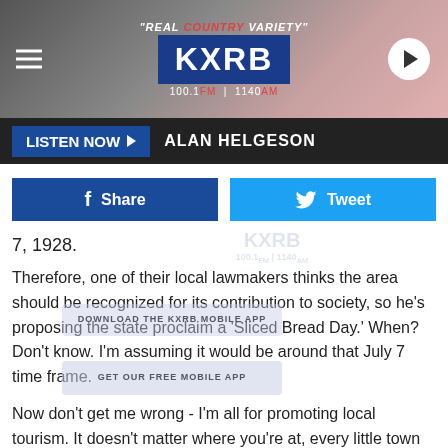[Figure (screenshot): KXRB radio station website header with logo, 'REAL COUNTRY VARIETY' tagline, 100.1 FM | 1140 AM frequencies, hamburger menu, and play button]
LISTEN NOW  ALAN HELGESON
[Figure (screenshot): Facebook Share and Twitter Tweet social sharing buttons]
7, 1928.
Therefore, one of their local lawmakers thinks the area should be recognized for its contribution to society, so he's proposing the state proclaim a 'Sliced Bread Day.' When? Don't know. I'm assuming it would be around that July 7 time frame.
Now don't get me wrong - I'm all for promoting local tourism. It doesn't matter where you're at, every little town has a story to tell. But to expect the state legislature to spend time